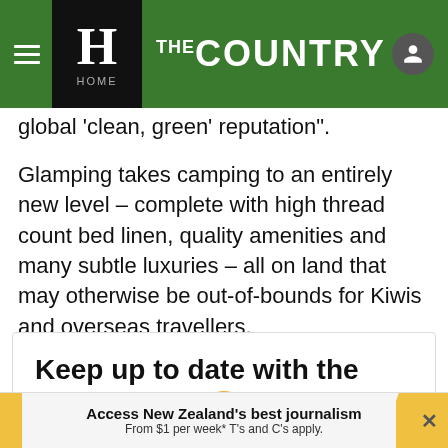THE COUNTRY - HOME
global 'clean, green' reputation".
Glamping takes camping to an entirely new level – complete with high thread count bed linen, quality amenities and many subtle luxuries – all on land that may otherwise be out-of-bounds for Kiwis and overseas travellers.
Keep up to date with the day's biggest stories
Access New Zealand's best journalism From $1 per week* T's and C's apply.